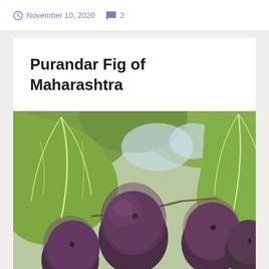November 10, 2020  2
Purandar Fig of Maharashtra
[Figure (photo): Close-up photograph of Purandar figs (dark purple/maroon round fruits) growing on a branch with large green fig leaves in the background]